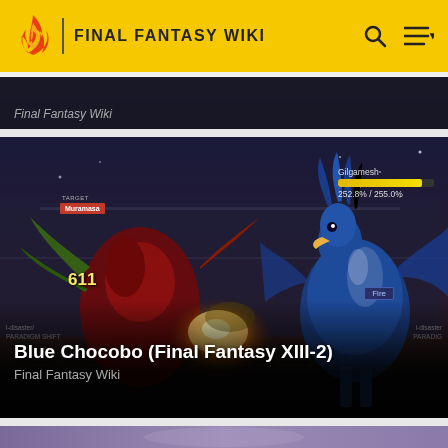FINAL FANTASY WIKI
[Figure (screenshot): Partial top card showing 'Final Fantasy Wiki' label on dark background]
[Figure (screenshot): Battle scene from Final Fantasy XIII-2 showing Gilgamesh with HP bar (252.8%/255.0%), Muramasa target label, a blue Chocobo, Fire spell label, and damage number 611. Labels: i-disaster/ PARADIGM SHIFT on left and right. Title: Blue Chocobo (Final Fantasy XIII-2), Subtitle: Final Fantasy Wiki]
[Figure (screenshot): Partial bottom card showing purple/blue background with a spherical object, beginning of another entry]